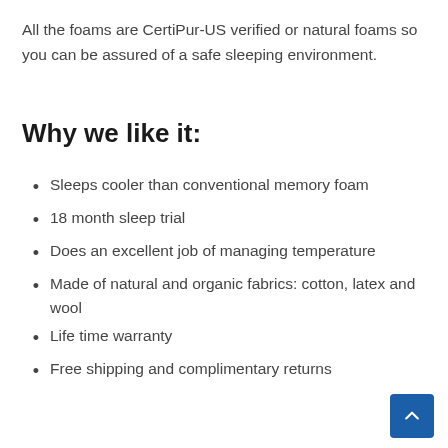All the foams are CertiPur-US verified or natural foams so you can be assured of a safe sleeping environment.
Why we like it:
Sleeps cooler than conventional memory foam
18 month sleep trial
Does an excellent job of managing temperature
Made of natural and organic fabrics: cotton, latex and wool
Life time warranty
Free shipping and complimentary returns